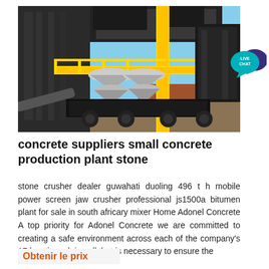[Figure (photo): Industrial stone crusher / concrete production plant with yellow structural frame and machinery, shot outdoors under blue sky]
[Figure (logo): Live Chat button - teal speech bubble with text LIVE CHAT and dark purple speech bubble behind it]
concrete suppliers small concrete production plant stone
stone crusher dealer guwahati duoling 496 t h mobile power screen jaw crusher professional js1500a bitumen plant for sale in south africary mixer Home Adonel Concrete A top priority for Adonel Concrete we are committed to creating a safe environment across each of the company's 17 locations doing all that is necessary to ensure the
Obtenir le prix